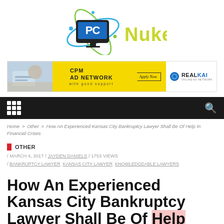[Figure (logo): PC Nuke logo — monitor icon with 'PC' in blue/yellow and 'Nuke' in yellow-green, surrounded by blue/green orbital rings]
[Figure (infographic): CPM Ad Network banner — yellow chevron with 'CPM AD NETWORK with good support', Apply Now button, RealKai logo on white background, photo of person on left]
Navigation bar with grid menu icon and search icon
Home > Other > How An Experienced Kansas City Bankruptcy Lawyer Shall Be Of Help In Financial Crises
OTHER / MARCH 4, 2017 / JAYDEN DANIELS / 1753 VIEWS / BANKRUPTCY LAWYER  KANSAS CITY LAWYER  KNOWLEDGEABLE LAWYERS
How An Experienced Kansas City Bankruptcy Lawyer Shall Be Of Help In Financial Crises